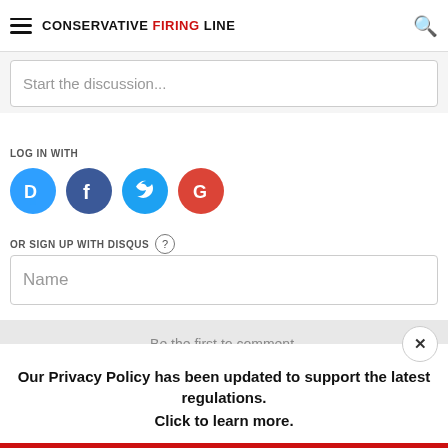CONSERVATIVE FIRING LINE
Start the discussion...
LOG IN WITH
[Figure (infographic): Social login icons: Disqus (blue circle with D), Facebook (dark blue circle with f), Twitter (light blue circle with bird), Google (red circle with G)]
OR SIGN UP WITH DISQUS
Name
Be the first to comment.
Our Privacy Policy has been updated to support the latest regulations.
Click to learn more.